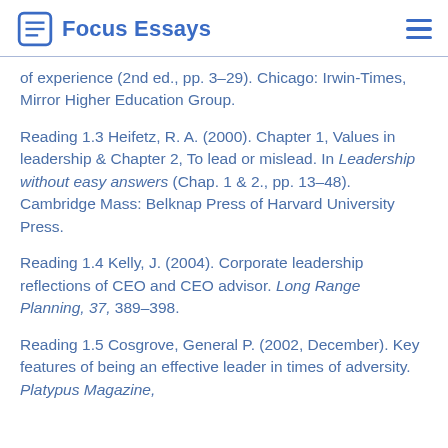Focus Essays
of experience (2nd ed., pp. 3–29). Chicago: Irwin-Times, Mirror Higher Education Group.
Reading 1.3 Heifetz, R. A. (2000). Chapter 1, Values in leadership & Chapter 2, To lead or mislead. In Leadership without easy answers (Chap. 1 & 2., pp. 13–48). Cambridge Mass: Belknap Press of Harvard University Press.
Reading 1.4 Kelly, J. (2004). Corporate leadership reflections of CEO and CEO advisor. Long Range Planning, 37, 389–398.
Reading 1.5 Cosgrove, General P. (2002, December). Key features of being an effective leader in times of adversity. Platypus Magazine,